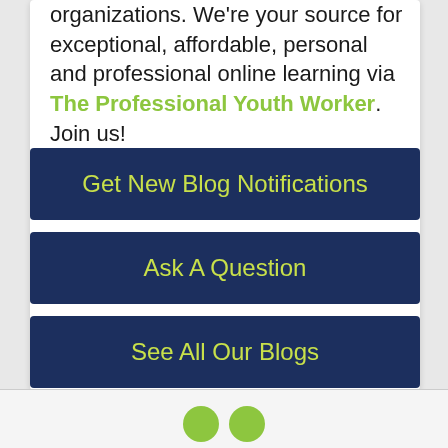organizations. We're your source for exceptional, affordable, personal and professional online learning via The Professional Youth Worker. Join us!
Get New Blog Notifications
Ask A Question
See All Our Blogs
[Figure (illustration): Two social media icon circles (green) at the bottom footer area]